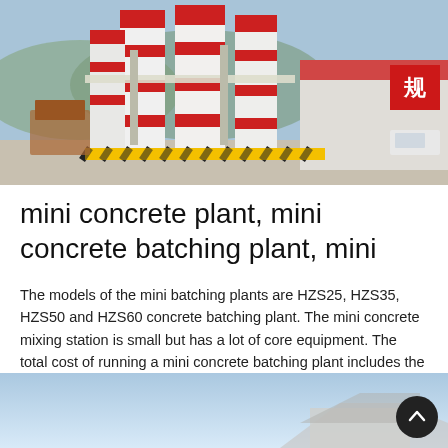[Figure (photo): Outdoor industrial concrete batching plant with tall white and red silos, yellow and black hazard striping, and a red and white warehouse building in the background. Chinese signage visible.]
mini concrete plant, mini concrete batching plant, mini
The models of the mini batching plants are HZS25, HZS35, HZS50 and HZS60 concrete batching plant. The mini concrete mixing station is small but has a lot of core equipment. The total cost of running a mini concrete batching plant includes the batching plant equipment cost, equipment installation cost, foundation cost, site costs and some
Learn More
[Figure (photo): Partial view of a light blue and white industrial structure against a gradient blue-white background, partially cropped at bottom of page.]